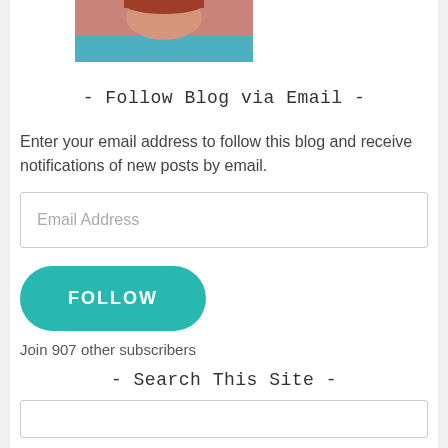[Figure (photo): Partial photo of a woman with red hair wearing a teal/turquoise top, cropped at the top of the page]
- Follow Blog via Email -
Enter your email address to follow this blog and receive notifications of new posts by email.
Email Address
FOLLOW
Join 907 other subscribers
- Search This Site -